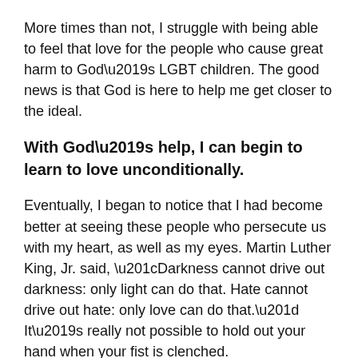More times than not, I struggle with being able to feel that love for the people who cause great harm to God’s LGBT children. The good news is that God is here to help me get closer to the ideal.
With God’s help, I can begin to learn to love unconditionally.
Eventually, I began to notice that I had become better at seeing these people who persecute us with my heart, as well as my eyes. Martin Luther King, Jr. said, “Darkness cannot drive out darkness: only light can do that. Hate cannot drive out hate: only love can do that.” It’s really not possible to hold out your hand when your fist is clenched.
So I have finally come to a place on my journey where I can ask myself what it is that I truly want to see happen and the